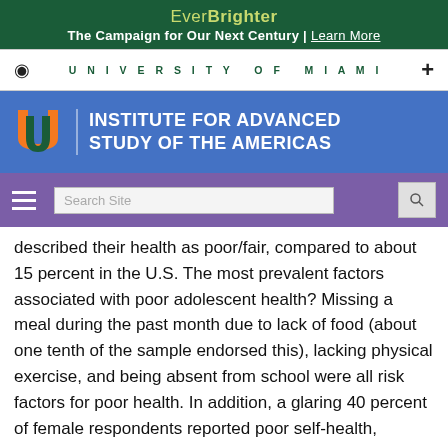EverBrighter — The Campaign for Our Next Century | Learn More
UNIVERSITY OF MIAMI
INSTITUTE FOR ADVANCED STUDY OF THE AMERICAS
described their health as poor/fair, compared to about 15 percent in the U.S. The most prevalent factors associated with poor adolescent health? Missing a meal during the past month due to lack of food (about one tenth of the sample endorsed this), lacking physical exercise, and being absent from school were all risk factors for poor health. In addition, a glaring 40 percent of female respondents reported poor self-health, compared to only about 20 percent of male adolescents. Because these findings were cross-